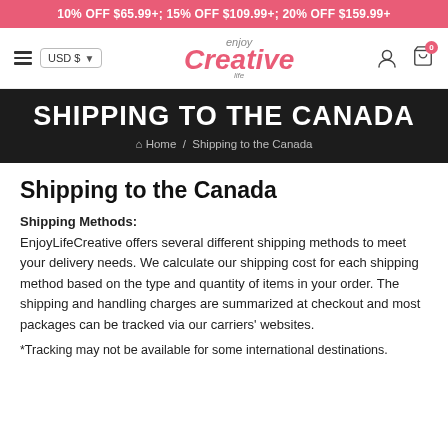10% OFF $65.99+; 15% OFF $109.99+; 20% OFF $159.99+
[Figure (screenshot): Website navigation bar with hamburger menu, USD currency selector, enjoy life Creative logo, user account icon, and shopping cart icon with 0 badge]
SHIPPING TO THE CANADA
Home / Shipping to the Canada
Shipping to the Canada
Shipping Methods:
EnjoyLifeCreative offers several different shipping methods to meet your delivery needs. We calculate our shipping cost for each shipping method based on the type and quantity of items in your order. The shipping and handling charges are summarized at checkout and most packages can be tracked via our carriers' websites.
*Tracking may not be available for some international destinations.